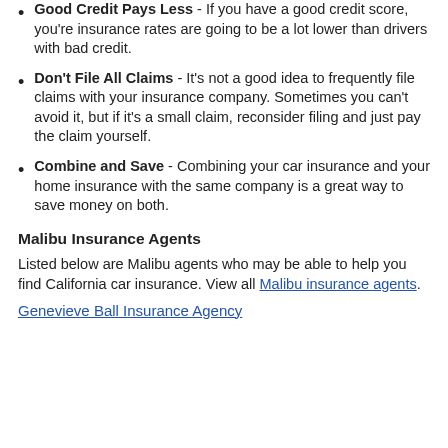Good Credit Pays Less - If you have a good credit score, you're insurance rates are going to be a lot lower than drivers with bad credit.
Don't File All Claims - It's not a good idea to frequently file claims with your insurance company. Sometimes you can't avoid it, but if it's a small claim, reconsider filing and just pay the claim yourself.
Combine and Save - Combining your car insurance and your home insurance with the same company is a great way to save money on both.
Malibu Insurance Agents
Listed below are Malibu agents who may be able to help you find California car insurance. View all Malibu insurance agents.
Genevieve Ball Insurance Agency